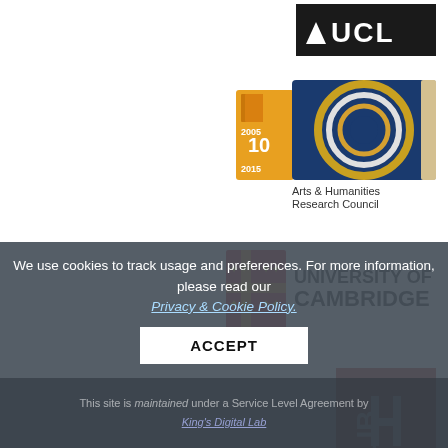[Figure (logo): UCL (University College London) logo - white text on black background]
[Figure (logo): Arts & Humanities Research Council logo with circular graphic and 2005-2015 10th anniversary badge]
[Figure (logo): University of Cambridge logo with shield crest and text]
[Figure (logo): British Library logo - red background with LIB and RARY text in white]
We use cookies to track usage and preferences. For more information, please read our Privacy & Cookie Policy.
ACCEPT
This site is maintained under a Service Level Agreement by King's Digital Lab